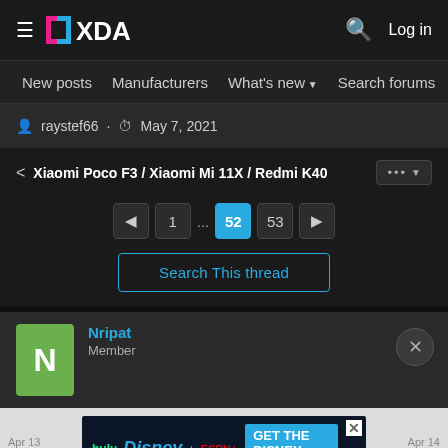XDA | Log in
New posts  Manufacturers  What's new  Search forums  Membe
raystef66 · May 7, 2021
< Xiaomi Poco F3 / Xiaomi Mi 11X / Redmi K40  ... ▼
◄  1  ...  52  53  ►
Search This thread
Nripat
Member
[Figure (screenshot): Disney Bundle advertisement banner with Hulu, Disney+, ESPN+ logos and GET THE DISNEY BUNDLE CTA]